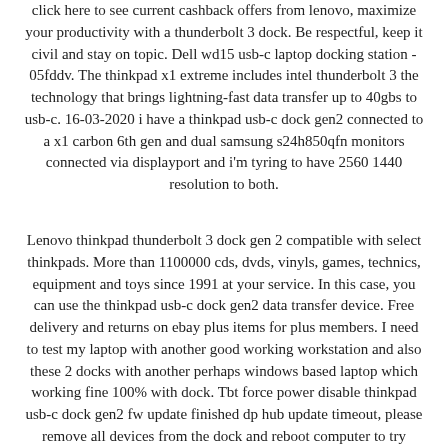click here to see current cashback offers from lenovo, maximize your productivity with a thunderbolt 3 dock. Be respectful, keep it civil and stay on topic. Dell wd15 usb-c laptop docking station - 05fddv. The thinkpad x1 extreme includes intel thunderbolt 3 the technology that brings lightning-fast data transfer up to 40gbs to usb-c. 16-03-2020 i have a thinkpad usb-c dock gen2 connected to a x1 carbon 6th gen and dual samsung s24h850qfn monitors connected via displayport and i'm tyring to have 2560 1440 resolution to both.
Lenovo thinkpad thunderbolt 3 dock gen 2 compatible with select thinkpads. More than 1100000 cds, dvds, vinyls, games, technics, equipment and toys since 1991 at your service. In this case, you can use the thinkpad usb-c dock gen2 data transfer device. Free delivery and returns on ebay plus items for plus members. I need to test my laptop with another good working workstation and also these 2 docks with another perhaps windows based laptop which working fine 100% with dock. Tbt force power disable thinkpad usb-c dock gen2 fw update finished dp hub update timeout, please remove all devices from the dock and reboot computer to try again.